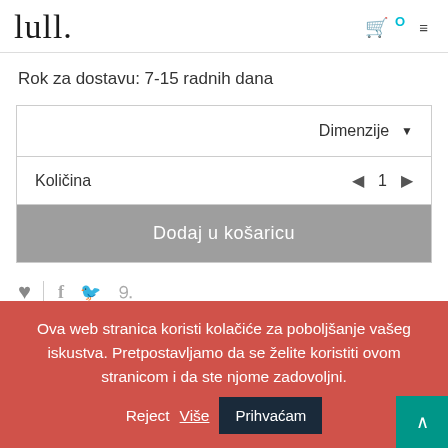lull. — logo, cart icon with 0, menu icon
Rok za dostavu: 7-15 radnih dana
| Dimenzije ▼ |
| Količina  ◀  1  ▶ |
| Dodaj u košaricu |
[Figure (illustration): Social icons row: heart, divider, facebook f, twitter bird, pinterest p]
Ova web stranica koristi kolačiće za poboljšanje vašeg iskustva. Pretpostavljamo da se želite koristiti ovom stranicom i da ste njome zadovoljni.
Prihvaćam  Reject  Više